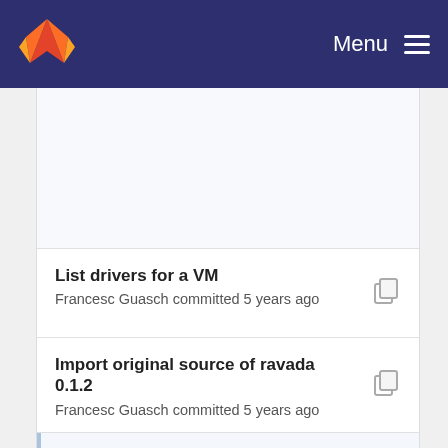Menu
List drivers for a VM
Francesc Guasch committed 5 years ago
Import original source of ravada 0.1.2
Francesc Guasch committed 5 years ago
[#202] documented new api
Francesc Guasch committed 4 years ago
[#202] tell if a domain is local or remote
Francesc Guasch committed 4 years ago